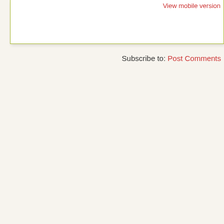View mobile version
Subscribe to: Post Comments